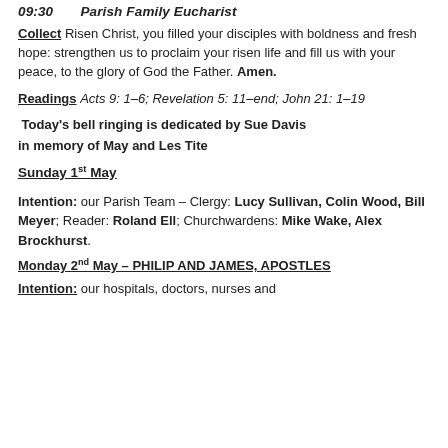09:30    Parish Family Eucharist
Collect Risen Christ, you filled your disciples with boldness and fresh hope: strengthen us to proclaim your risen life and fill us with your peace, to the glory of God the Father. Amen.
Readings Acts 9: 1–6; Revelation 5: 11–end; John 21: 1–19
Today's bell ringing is dedicated by Sue Davis
in memory of May and Les Tite
Sunday 1st May
Intention: our Parish Team – Clergy: Lucy Sullivan, Colin Wood, Bill Meyer; Reader: Roland Ell; Churchwardens: Mike Wake, Alex Brockhurst.
Monday 2nd May – PHILIP AND JAMES, APOSTLES
Intention: our hospitals, doctors, nurses and